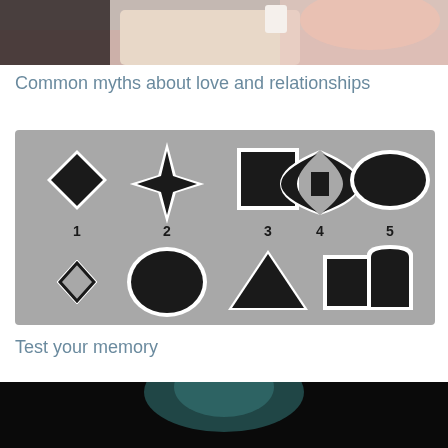[Figure (photo): Photo of two people sitting together, one holding a cup, on a light-colored couch with pink pillow]
Common myths about love and relationships
[Figure (other): Memory test image showing two rows of shapes on grey background. Top row: 1-diamond, 2-four-pointed star, 3-square, 4-pinched square/bowtie shape, 5-oval. Bottom row (no numbers): small diamond outline, rounded rectangle, triangle, rectangle, arch/tombstone shape.]
Test your memory
[Figure (photo): Partial photo at bottom, dark background with teal/green element visible]